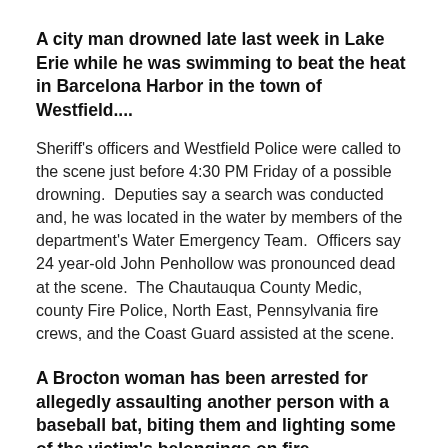A city man drowned late last week in Lake Erie while he was swimming to beat the heat in Barcelona Harbor in the town of Westfield....
Sheriff's officers and Westfield Police were called to the scene just before 4:30 PM Friday of a possible drowning.  Deputies say a search was conducted and, he was located in the water by members of the department's Water Emergency Team.  Officers say 24 year-old John Penhollow was pronounced dead at the scene.  The Chautauqua County Medic, county Fire Police, North East, Pennsylvania fire crews, and the Coast Guard assisted at the scene.
A Brocton woman has been arrested for allegedly assaulting another person with a baseball bat, biting them and lighting some of the victim's belongings on fire....